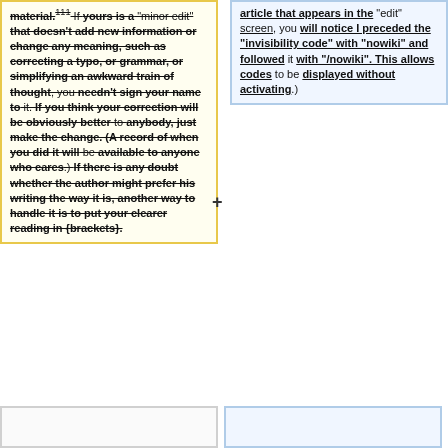material. If yours is a "minor edit" that doesn't add new information or change any meaning, such as correcting a typo, or grammar, or simplifying an awkward train of thought, you needn't sign your name to it. If you think your correction will be obviously better to anybody, just make the change. (A record of when you did it will be available to anyone who cares.) If there is any doubt whether the author might prefer his writing the way it is, another way to handle it is to put your clearer reading in {brackets}.
article that appears in the "edit" screen, you will notice I preceded the "invisibility code" with "nowiki" and followed it with "/nowiki". This allows codes to be displayed without activating.)